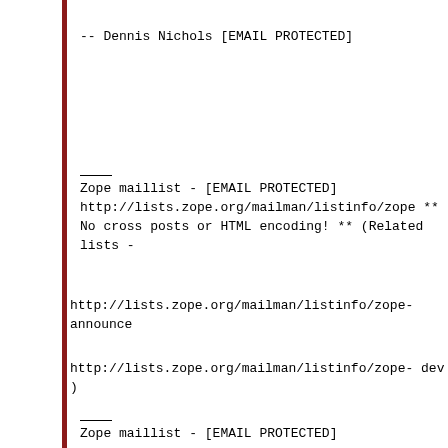--
Dennis Nichols
[EMAIL PROTECTED]
___
Zope maillist  -  [EMAIL PROTECTED]
http://lists.zope.org/mailman/listinfo/zope
**   No cross posts or HTML encoding!  **
(Related lists -
http://lists.zope.org/mailman/listinfo/zope-announce
http://lists.zope.org/mailman/listinfo/zope-dev )
___
Zope maillist  -  [EMAIL PROTECTED]